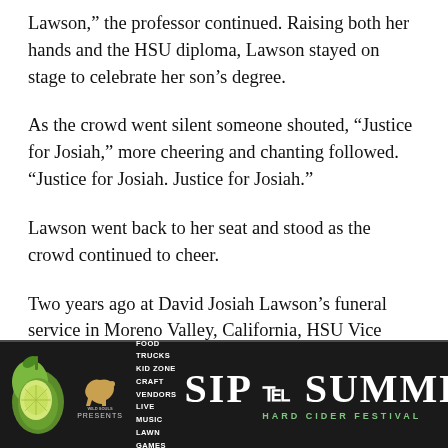Lawson,” the professor continued. Raising both her hands and the HSU diploma, Lawson stayed on stage to celebrate her son’s degree.
As the crowd went silent someone shouted, “Justice for Josiah,” more cheering and chanting followed. “Justice for Josiah. Justice for Josiah.”
Lawson went back to her seat and stood as the crowd continued to cheer.
Two years ago at David Josiah Lawson’s funeral service in Moreno Valley, California, HSU Vice President Craig Wruck spoke and presented a Certificate of Achievement
[Figure (infographic): Advertisement banner for 'Sip of Summer Hard Cider Festival' presented by Wild Souls Ranch. Event details: Food Trucks, Kid Zone, Craft Vendors, Live Music, Lawn Games. September 24, 2022, 1PM-5PM, Rohner Park, Fortuna CA. Dark background with green citrus imagery on the left.]